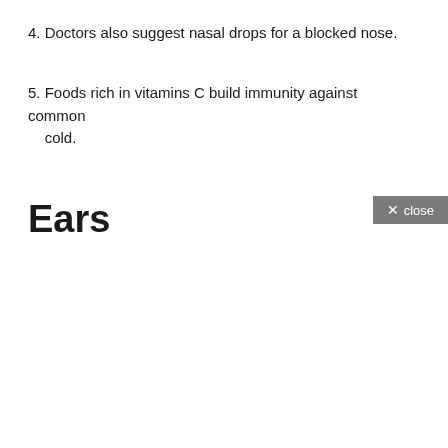4. Doctors also suggest nasal drops for a blocked nose.
5. Foods rich in vitamins C build immunity against common cold.
Ears